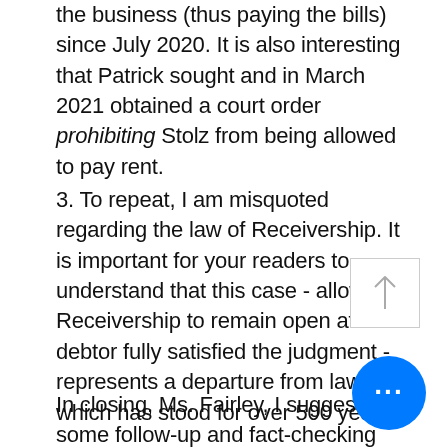the business (thus paying the bills) since July 2020. It is also interesting that Patrick sought and in March 2021 obtained a court order prohibiting Stolz from being allowed to pay rent.
3. To repeat, I am misquoted regarding the law of Receivership. It is important for your readers to understand that this case - allowing a Receivership to remain open after the debtor fully satisfied the judgment - represents a departure from law which has stood for over 500 years.
In closing, Ms. Fairley, I suggest you some follow-up and fact-checking